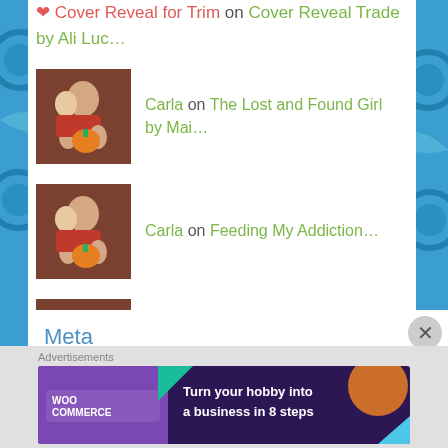Cover Reveal for Trim on Cover Reveal Trade by Ali Luc…
Carla on The Lost and Found Girl by Mai…
Carla on Feeding My Addiction…
Carla on For Butter or Worse by Erin La…
Meta
Register
Advertisements
[Figure (other): WooCommerce advertisement banner: Turn your hobby into a business in 8 steps]